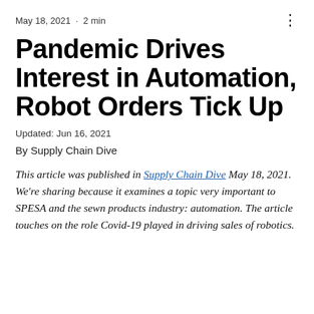May 18, 2021 · 2 min
Pandemic Drives Interest in Automation, Robot Orders Tick Up
Updated: Jun 16, 2021
By Supply Chain Dive
This article was published in Supply Chain Dive May 18, 2021. We're sharing because it examines a topic very important to SPESA and the sewn products industry: automation. The article touches on the role Covid-19 played in driving sales of robotics.